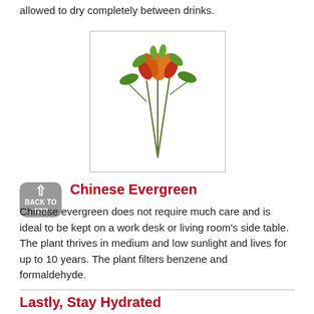allowed to dry completely between drinks.
[Figure (illustration): A colorful plant arrangement with orange, red, and green foliage against a white background, shown inside a bordered rectangle.]
Chinese Evergreen
Chinese evergreen does not require much care and is ideal to be kept on a work desk or living room's side table. The plant thrives in medium and low sunlight and lives for up to 10 years. The plant filters benzene and formaldehyde.
Lastly, Stay Hydrated